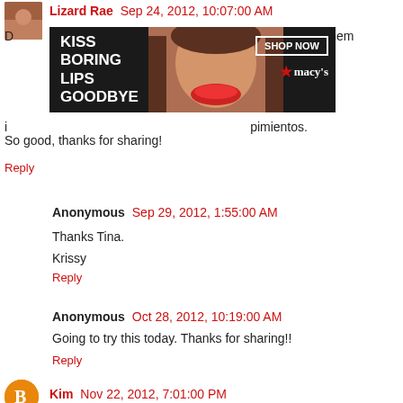Lizard Rae  Sep 24, 2012, 10:07:00 AM
[Figure (other): Macy's advertisement banner: KISS BORING LIPS GOODBYE - woman with red lips - SHOP NOW - macy's logo]
...ade them i... ...pimientos. So good, thanks for sharing!
Reply
Anonymous  Sep 29, 2012, 1:55:00 AM
Thanks Tina.
Krissy
Reply
Anonymous  Oct 28, 2012, 10:19:00 AM
Going to try this today. Thanks for sharing!!
Reply
Kim  Nov 22, 2012, 7:01:00 PM